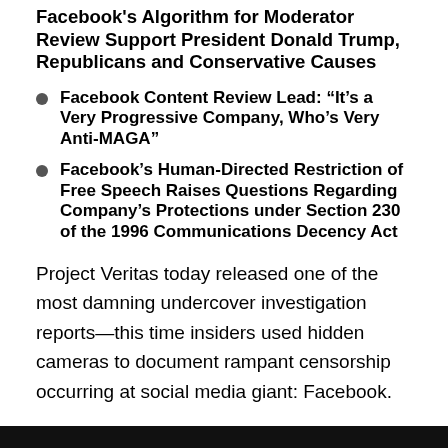Facebook's Algorithm for Moderator Review Support President Donald Trump, Republicans and Conservative Causes
Facebook Content Review Lead: “It’s a Very Progressive Company, Who’s Very Anti-MAGA”
Facebook’s Human-Directed Restriction of Free Speech Raises Questions Regarding Company’s Protections under Section 230 of the 1996 Communications Decency Act
Project Veritas today released one of the most damning undercover investigation reports—this time insiders used hidden cameras to document rampant censorship occurring at social media giant: Facebook.